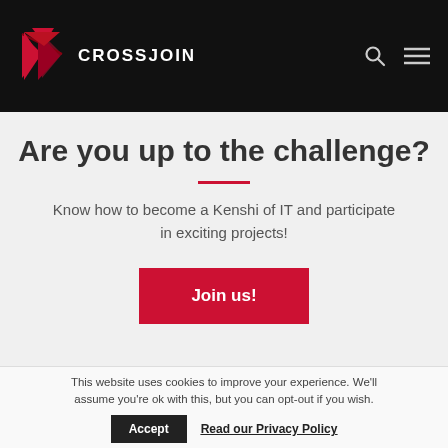CROSSJOIN
Are you up to the challenge?
Know how to become a Kenshi of IT and participate in exciting projects!
Join us!
This website uses cookies to improve your experience. We'll assume you're ok with this, but you can opt-out if you wish.
Accept
Read our Privacy Policy